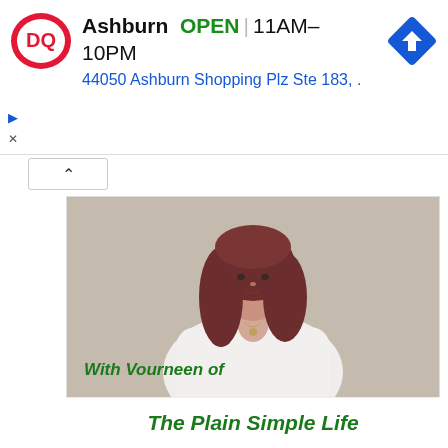[Figure (screenshot): Dairy Queen advertisement banner showing DQ logo, Ashburn location open 11AM-10PM, address 44050 Ashburn Shopping Plz Ste 183, and a navigation arrow icon.]
[Figure (photo): Photo of a smiling woman with long auburn hair wearing a white blouse, posed against a neutral background, with overlay text 'With Vourneen of The Plain Simple Life' in green italic bold font.]
Ashburn  OPEN | 11AM–10PM
44050 Ashburn Shopping Plz Ste 183, .
With Vourneen of The Plain Simple Life